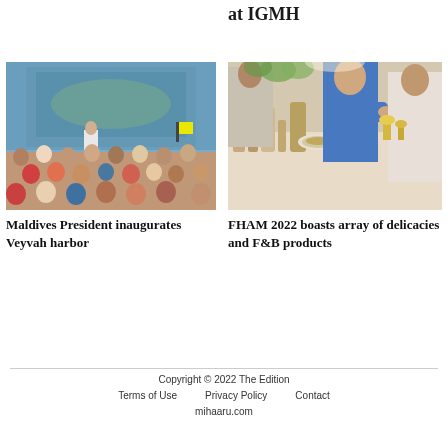at IGMH
[Figure (photo): Maldives President speaking at a podium with an aerial map behind him and audience seated in the foreground]
Maldives President inaugurates Veyvah harbor
[Figure (photo): People browsing food and beverage products and delicacies at FHAM 2022 exhibition]
FHAM 2022 boasts array of delicacies and F&B products
Copyright © 2022 The Edition
Terms of Use   Privacy Policy   Contact
mihaaru.com